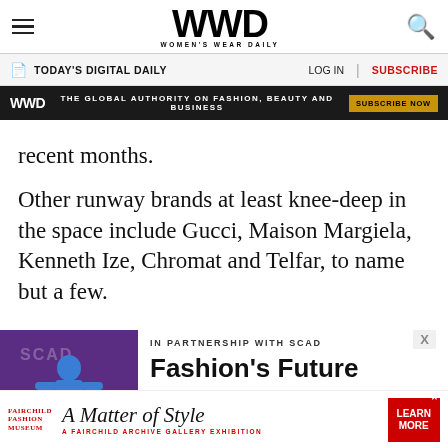WWD WOMEN'S WEAR DAILY
TODAY'S DIGITAL DAILY | LOG IN | SUBSCRIBE
[Figure (screenshot): WWD dark ad banner: THE GLOBAL AUTHORITY ON FASHION, BEAUTY AND BUSINESS with SUBSCRIBE NOW button]
recent months.
Other runway brands at least knee-deep in the space include Gucci, Maison Margiela, Kenneth Ize, Chromat and Telfar, to name but a few.
[Figure (photo): A person wearing a blue outfit on a purple SCAD-branded stage backdrop]
IN PARTNERSHIP WITH SCAD Fashion's Future
[Figure (infographic): Bottom advertisement: Fairchild Fashion Museum — A Matter of Style: A Fairchild Archive Gallery Exhibition — LEARN MORE]